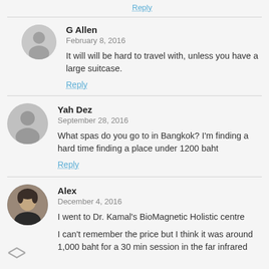Reply
G Allen
February 8, 2016
It will will be hard to travel with, unless you have a large suitcase.
Reply
Yah Dez
September 28, 2016
What spas do you go to in Bangkok? I'm finding a hard time finding a place under 1200 baht
Reply
Alex
December 4, 2016
I went to Dr. Kamal's BioMagnetic Holistic centre
I can't remember the price but I think it was around 1,000 baht for a 30 min session in the far infrared